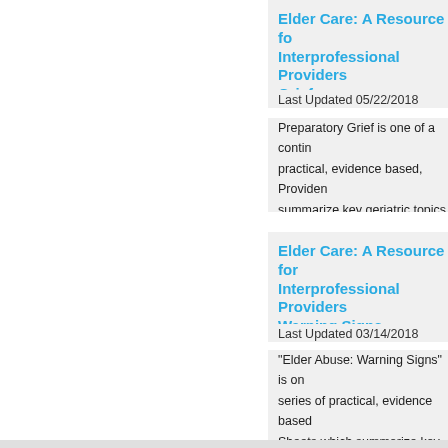Elder Care: A Resource for Interprofessional Providers: Grief
Last Updated 05/22/2018
Preparatory Grief is one of a contin... practical, evidence based, Providers... summarize key geriatric topics and... useful assessments and interventio... developed for remote, rural clinical...
Elder Care: A Resource for Interprofessional Providers: Warning Signs
Last Updated 03/14/2018
"Elder Abuse: Warning Signs" is on... series of practical, evidence based ... Sheets which summarize key geria... provide clinically useful assessmen... Initially developed for remote, ...